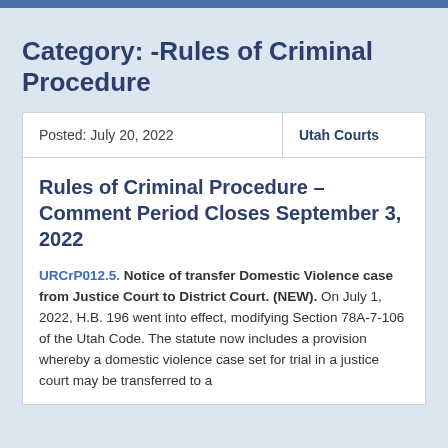Category: -Rules of Criminal Procedure
| Posted: July 20, 2022 | Utah Courts |
| --- | --- |
Rules of Criminal Procedure – Comment Period Closes September 3, 2022
URCrP012.5. Notice of transfer Domestic Violence case from Justice Court to District Court. (NEW). On July 1, 2022, H.B. 196 went into effect, modifying Section 78A-7-106 of the Utah Code. The statute now includes a provision whereby a domestic violence case set for trial in a justice court may be transferred to a